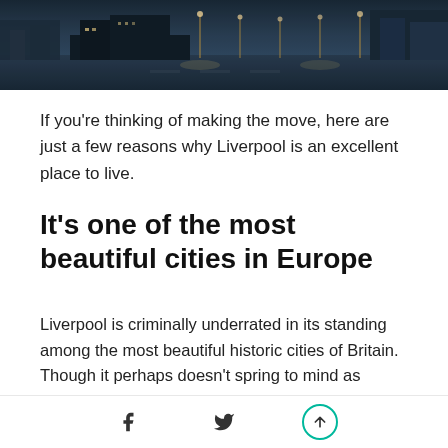[Figure (photo): Aerial/street-level twilight photo of Liverpool dockside or urban waterfront area with street lights and dark sky]
If you’re thinking of making the move, here are just a few reasons why Liverpool is an excellent place to live.
It’s one of the most beautiful cities in Europe
Liverpool is criminally underrated in its standing among the most beautiful historic cities of Britain. Though it perhaps doesn’t spring to mind as quickly as Bath, York, Oxford, Cambridge, or Edinburgh,
Facebook share | Twitter share | Share/upload button